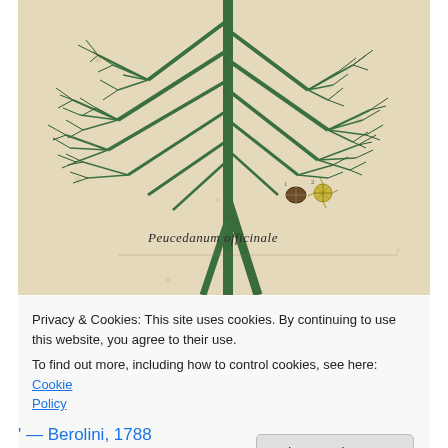[Figure (illustration): Botanical illustration of Peucedanum officinale on aged cream/beige paper. Shows a tall plant with long green stems and finely divided feathery leaves (umbelliferous plant). Two small botanical detail drawings (seed/fruit cross-sections) appear at lower right. Script label reads 'Peucedanum officinale' in italic handwriting.]
Privacy & Cookies: This site uses cookies. By continuing to use this website, you agree to their use.
To find out more, including how to control cookies, see here: Cookie Policy
Close and accept
' — Berolini, 1788